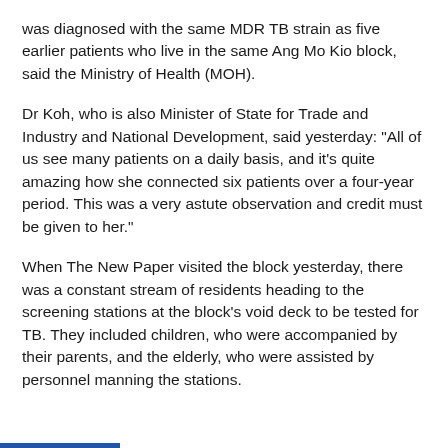was diagnosed with the same MDR TB strain as five earlier patients who live in the same Ang Mo Kio block, said the Ministry of Health (MOH).
Dr Koh, who is also Minister of State for Trade and Industry and National Development, said yesterday: "All of us see many patients on a daily basis, and it's quite amazing how she connected six patients over a four-year period. This was a very astute observation and credit must be given to her."
When The New Paper visited the block yesterday, there was a constant stream of residents heading to the screening stations at the block's void deck to be tested for TB. They included children, who were accompanied by their parents, and the elderly, who were assisted by personnel manning the stations.